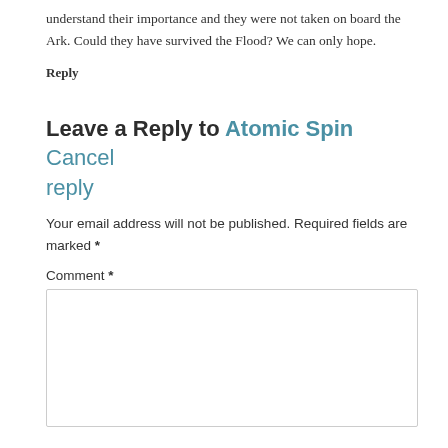understand their importance and they were not taken on board the Ark. Could they have survived the Flood? We can only hope.
Reply
Leave a Reply to Atomic Spin Cancel reply
Your email address will not be published. Required fields are marked *
Comment *
[Figure (other): Empty comment text area input box]